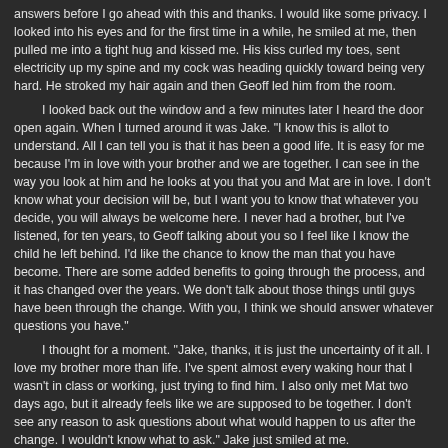answers before I go ahead with this and thanks. I would like some privacy. I looked into his eyes and for the first time in a while, he smiled at me, then pulled me into a tight hug and kissed me. His kiss curled my toes, sent electricity up my spine and my cock was heading quickly toward being very hard. He stroked my hair again and then Geoff led him from the room.
I looked back out the window and a few minutes later I heard the door open again. When I turned around it was Jake. "I know this is allot to understand. All I can tell you is that it has been a good life. It is easy for me because I'm in love with your brother and we are together. I can see in the way you look at him and he looks at you that you and Mat are in love. I don't know what your decision will be, but I want you to know that whatever you decide, you will always be welcome here. I never had a brother, but I've listened, for ten years, to Geoff talking about you so I feel like I know the child he left behind. I'd like the chance to know the man that you have become. There are some added benefits to going through the process, and it has changed over the years. We don't talk about those things until guys have been through the change. With you, I think we should answer whatever questions you have."
I thought for a moment. "Jake, thanks, it is just the uncertainty of it all. I love my brother more than life. I've spent almost every waking hour that I wasn't in class or working, just trying to find him. I also only met Mat two days ago, but it already feels like we are supposed to be together. I don't see any reason to ask questions about what would happen to us after the change. I wouldn't know what to ask." Jake just smiled at me.
"Geoff and Mat will be back soon." He walked over to me and tussled my hair like I was a kid brother. I kind of liked it.
"You should let your hair free of that pony tale. It looks good" he said. Then he left the room. I can certainly see why my brother likes him. He not only shows a big heart, but the guy is incredibly built. Not hairy like Geoff, but very smooth. I guess he and Geoff wear their braided pony tails to show they are a couple, but